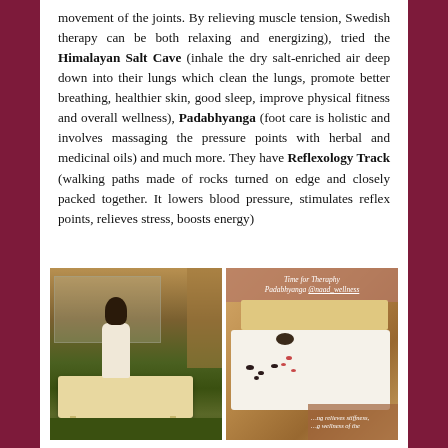movement of the joints. By relieving muscle tension, Swedish therapy can be both relaxing and energizing), tried the Himalayan Salt Cave (inhale the dry salt-enriched air deep down into their lungs which clean the lungs, promote better breathing, healthier skin, good sleep, improve physical fitness and overall wellness), Padabhyanga (foot care is holistic and involves massaging the pressure points with herbal and medicinal oils) and much more. They have Reflexology Track (walking paths made of rocks turned on edge and closely packed together. It lowers blood pressure, stimulates reflex points, relieves stress, boosts energy)
[Figure (photo): Left photo: a person in white robe sitting on a massage table in a warm-toned spa treatment room with a mirror in the background. Right photo: a spa treatment setup with towels, oils and rose petals on a table, with an overlay text 'Time for Therapy Padabhyanga @naad_wellness' at the top and a text overlay at the bottom right.]